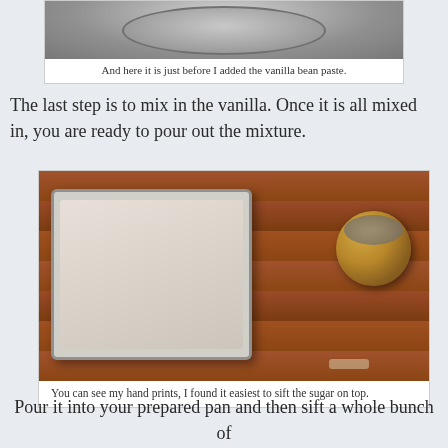[Figure (photo): Top portion of a metal mixing bowl viewed from above]
And here it is just before I added the vanilla bean paste.
The last step is to mix in the vanilla.  Once it is all mixed in, you are ready to pour out the mixture.
[Figure (photo): A baking pan filled with a white/pink mixture on a wooden table, with a sugar shaker to the right. Hand prints are visible in the mixture.]
You can see my hand prints, I found it easiest to sift the sugar on top.
Pour it into your prepared pan and then sift a whole bunch of